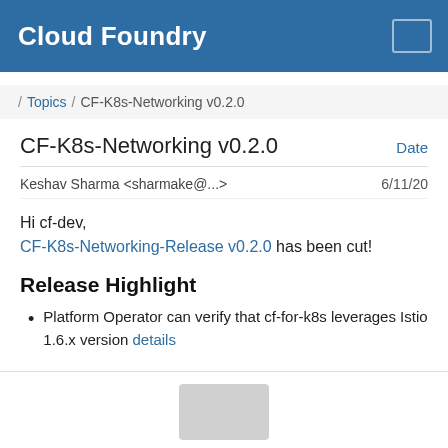Cloud Foundry
/ Topics / CF-K8s-Networking v0.2.0
CF-K8s-Networking v0.2.0    Date
Keshav Sharma <sharmake@...>    6/11/20
Hi cf-dev,
CF-K8s-Networking-Release v0.2.0 has been cut!
Release Highlight
Platform Operator can verify that cf-for-k8s leverages Istio 1.6.x version details